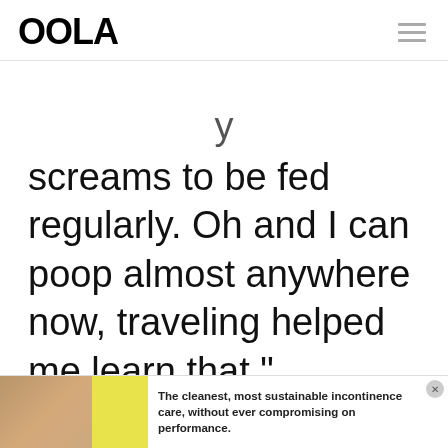OOLA
screams to be fed regularly. Oh and I can poop almost anywhere now, traveling helped me learn that."
- ADVERTISEMENT - CONTINUE READING BELOW -
[Figure (other): Advertisement banner for Attn: Grace incontinence care products. Shows brand name 'Attn: Grace' with text: 'The cleanest, most sustainable incontinence care, without ever compromising on performance.']